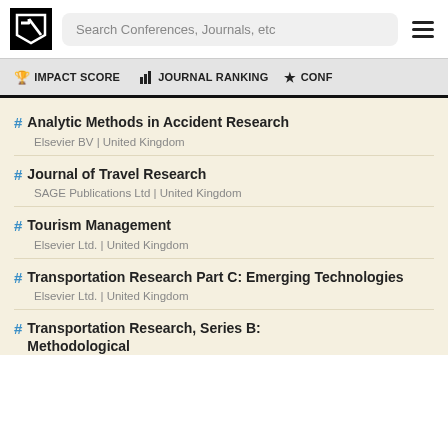Search Conferences, Journals, etc
IMPACT SCORE  |  JOURNAL RANKING  |  CONF...
# Analytic Methods in Accident Research
Elsevier BV | United Kingdom
# Journal of Travel Research
SAGE Publications Ltd | United Kingdom
# Tourism Management
Elsevier Ltd. | United Kingdom
# Transportation Research Part C: Emerging Technologies
Elsevier Ltd. | United Kingdom
# Transportation Research, Series B: Methodological